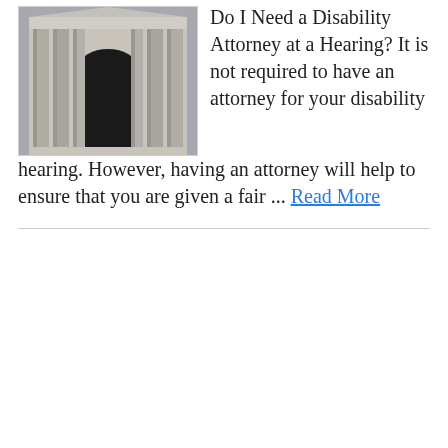[Figure (photo): Photograph of a government/court building facade with tall classical columns and an arched entrance, viewed from below]
Do I Need a Disability Attorney at a Hearing? It is not required to have an attorney for your disability hearing. However, having an attorney will help to ensure that you are given a fair ... Read More